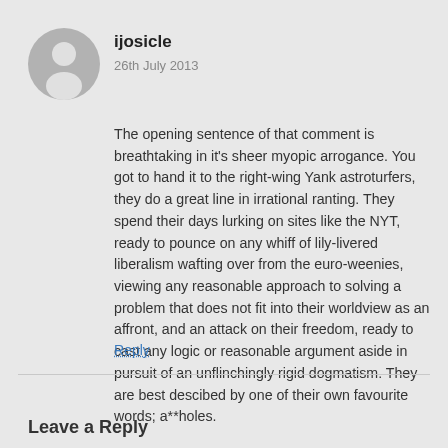[Figure (illustration): Grey circular avatar placeholder with a generic person silhouette icon]
ijosicle
26th July 2013
The opening sentence of that comment is breathtaking in it's sheer myopic arrogance. You got to hand it to the right-wing Yank astroturfers, they do a great line in irrational ranting. They spend their days lurking on sites like the NYT, ready to pounce on any whiff of lily-livered liberalism wafting over from the euro-weenies, viewing any reasonable approach to solving a problem that does not fit into their worldview as an affront, and an attack on their freedom, ready to cast any logic or reasonable argument aside in pursuit of an unflinchingly rigid dogmatism. They are best descibed by one of their own favourite words; a**holes.
Reply
Leave a Reply